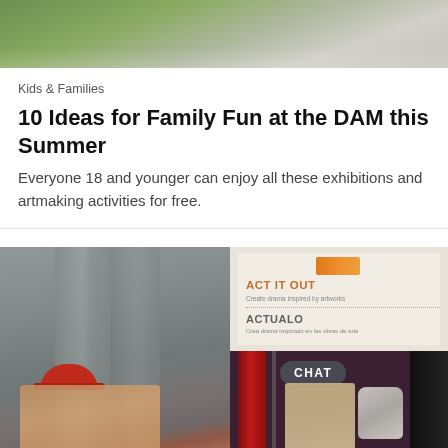[Figure (photo): Top portion of a museum interior photo showing green/gray tones]
Kids & Families
10 Ideas for Family Fun at the DAM this Summer
Everyone 18 and younger can enjoy all these exhibitions and artmaking activities for free.
[Figure (photo): Split image: left side shows person with red hat in museum gallery; right side top shows a bilingual sign reading ACT IT OUT / ACTUALO; right side bottom shows person in mask near red curtains with a CHAT button overlay]